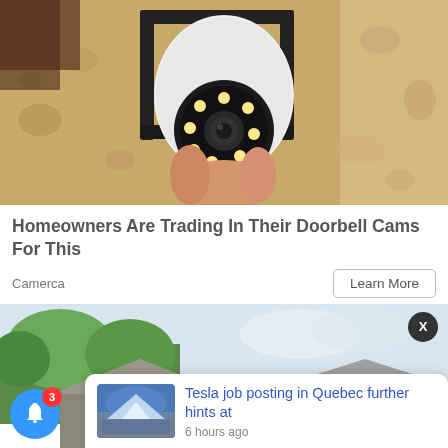[Figure (photo): Security camera being installed on a stucco wall, black metal bracket holding white dome camera with LED lights]
Homeowners Are Trading In Their Doorbell Cams For This
Camerca
Learn More
[Figure (photo): Outdoor scene with trees and house rooftops, partially obscured by notification popup]
Tesla job posting in Quebec further hints at
6 hours ago